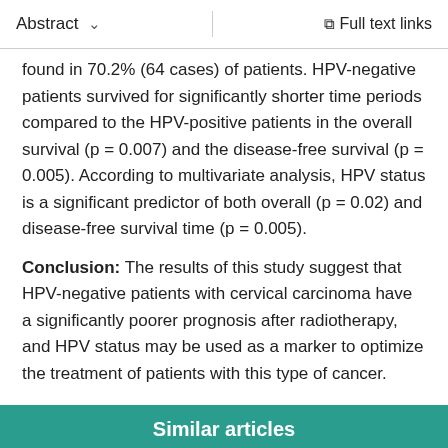Abstract   ∨   Full text links
found in 70.2% (64 cases) of patients. HPV-negative patients survived for significantly shorter time periods compared to the HPV-positive patients in the overall survival (p = 0.007) and the disease-free survival (p = 0.005). According to multivariate analysis, HPV status is a significant predictor of both overall (p = 0.02) and disease-free survival time (p = 0.005).
Conclusion: The results of this study suggest that HPV-negative patients with cervical carcinoma have a significantly poorer prognosis after radiotherapy, and HPV status may be used as a marker to optimize the treatment of patients with this type of cancer.
Similar articles
Chromosome 6p21.2, 18q21.2 and human